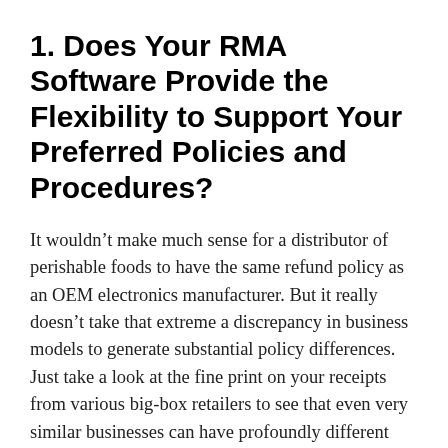1. Does Your RMA Software Provide the Flexibility to Support Your Preferred Policies and Procedures?
It wouldn’t make much sense for a distributor of perishable foods to have the same refund policy as an OEM electronics manufacturer. But it really doesn’t take that extreme a discrepancy in business models to generate substantial policy differences. Just take a look at the fine print on your receipts from various big-box retailers to see that even very similar businesses can have profoundly different refund policies.
The reality is that there is an enormous